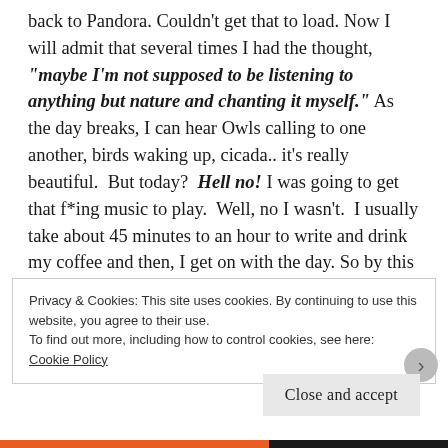back to Pandora. Couldn't get that to load. Now I will admit that several times I had the thought, "maybe I'm not supposed to be listening to anything but nature and chanting it myself." As the day breaks, I can hear Owls calling to one another, birds waking up, cicada.. it's really beautiful.  But today?  Hell no! I was going to get that f*ing music to play.  Well, no I wasn't.  I usually take about 45 minutes to an hour to write and drink my coffee and then, I get on with the day. So by this time, I was done with my coffee.  I hadn't written anything in my journal except how aggravated and pissed off I was.
Privacy & Cookies: This site uses cookies. By continuing to use this website, you agree to their use.
To find out more, including how to control cookies, see here: Cookie Policy
Close and accept